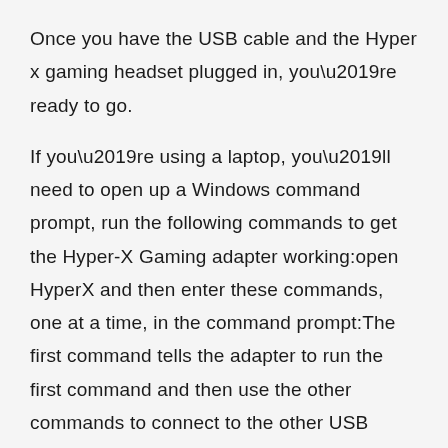Once you have the USB cable and the Hyper x gaming headset plugged in, you're ready to go.
If you're using a laptop, you'll need to open up a Windows command prompt, run the following commands to get the Hyper-X Gaming adapter working:open HyperX and then enter these commands, one at a time, in the command prompt:The first command tells the adapter to run the first command and then use the other commands to connect to the other USB port:After you're done connecting, hit the Enter key and you're finished.